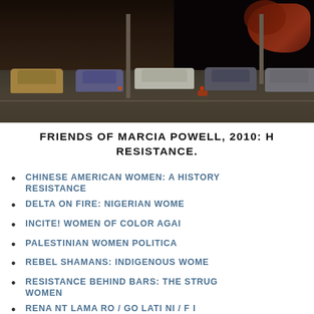[Figure (photo): Highway scene with multiple cars/vehicles driving on a road, with dark tunnel or overpass in the background and autumn foliage visible at upper right. Low-light or dusk conditions.]
FRIENDS OF MARCIA POWELL, 2010: H RESISTANCE.
CHINESE AMERICAN WOMEN: A HISTORY RESISTANCE
DELTA ON FIRE: NIGERIAN WOME
INCITE! WOMEN OF COLOR AGAI
PALESTINIAN WOMEN POLITICA
REBEL SHAMANS: INDIGENOUS WOME
RESISTANCE BEHIND BARS: THE STRUG WOMEN
RENA NT LAMA RO / GO LATI NI / F I